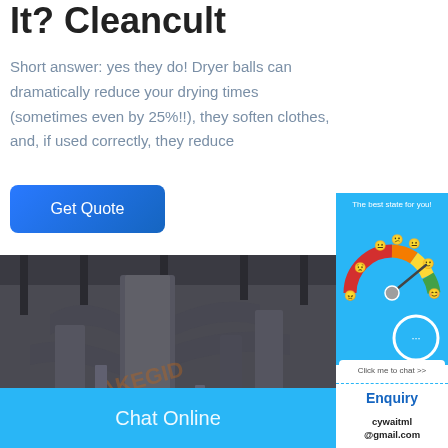It? Cleancult
Short answer: yes they do! Dryer balls can dramatically reduce your drying times (sometimes even by 25%!!), they soften clothes, and, if used correctly, they reduce
Get Quote
[Figure (photo): Industrial factory interior with large metal pipes, ducts, and processing equipment in a warehouse setting. Watermark reads AKEGID.]
[Figure (infographic): Gauge/meter widget on blue background titled 'The best state for you!' showing a color gradient arc from red to green with emoji faces around it and a needle pointing toward the green area. A chat bubble icon with '...' and a 'Click me to chat >>' button appear below.]
Enquiry
cywaitml@gmail.com
Chat Online